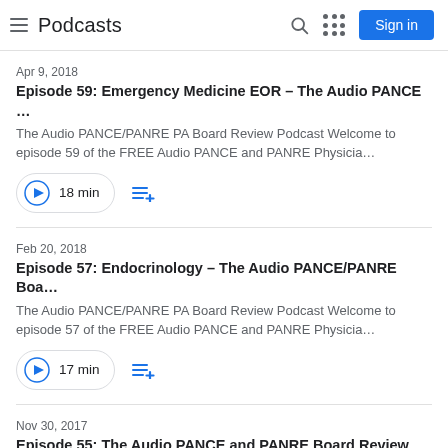Podcasts
Apr 9, 2018
Episode 59: Emergency Medicine EOR – The Audio PANCE …
The Audio PANCE/PANRE PA Board Review Podcast Welcome to episode 59 of the FREE Audio PANCE and PANRE Physicia…
18 min
Feb 20, 2018
Episode 57: Endocrinology – The Audio PANCE/PANRE Boa…
The Audio PANCE/PANRE PA Board Review Podcast Welcome to episode 57 of the FREE Audio PANCE and PANRE Physicia…
17 min
Nov 30, 2017
Episode 55: The Audio PANCE and PANRE Board Review Po…
Welcome to episode 55 of the FREE Audio PANCE and PANRE